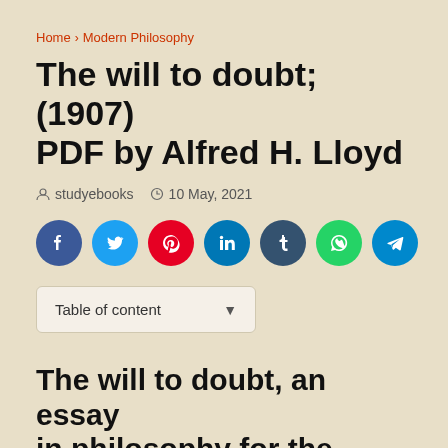Home › Modern Philosophy
The will to doubt; (1907) PDF by Alfred H. Lloyd
studyebooks   10 May, 2021
[Figure (infographic): Social media share buttons: Facebook, Twitter, Pinterest, LinkedIn, Tumblr, WhatsApp, Telegram]
Table of content
The will to doubt, an essay in philosophy for the general thinker